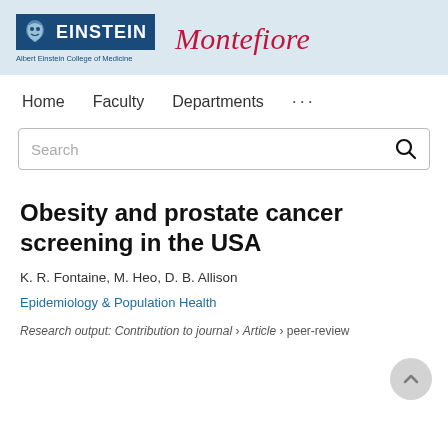[Figure (logo): Albert Einstein College of Medicine and Montefiore logos side by side on a light blue header background]
Home   Faculty   Departments   ...
Search
Obesity and prostate cancer screening in the USA
K. R. Fontaine, M. Heo, D. B. Allison
Epidemiology & Population Health
Research output: Contribution to journal › Article › peer-review